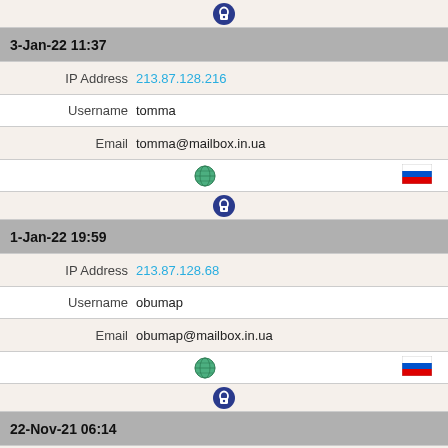[Figure (other): Lock/security icon (dark blue circle with lock symbol)]
3-Jan-22 11:37
IP Address  213.87.128.216
Username  tomma
Email  tomma@mailbox.in.ua
[Figure (other): Globe icon and Russian flag icon]
[Figure (other): Lock/security icon (dark blue circle with lock symbol)]
1-Jan-22 19:59
IP Address  213.87.128.68
Username  obumap
Email  obumap@mailbox.in.ua
[Figure (other): Globe icon and Russian flag icon]
[Figure (other): Lock/security icon (dark blue circle with lock symbol)]
22-Nov-21 06:14
IP Address  95.189.157.19
Username  qcyhup
Email  qcyhup@mailbox.in.ua